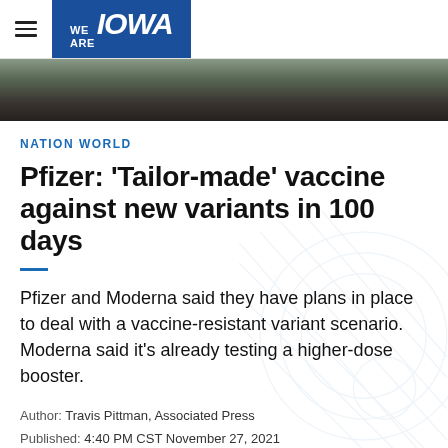WE ARE IOWA
[Figure (photo): Dark toned hero image, partial view of a scene with muted greens and dark tones]
NATION WORLD
Pfizer: 'Tailor-made' vaccine against new variants in 100 days
Pfizer and Moderna said they have plans in place to deal with a vaccine-resistant variant scenario. Moderna said it's already testing a higher-dose booster.
Author: Travis Pittman, Associated Press
Published: 4:40 PM CST November 27, 2021
Updated: 10:21 PM CST November 28, 2021
With the emergence of the omicron COVID-19 variant,